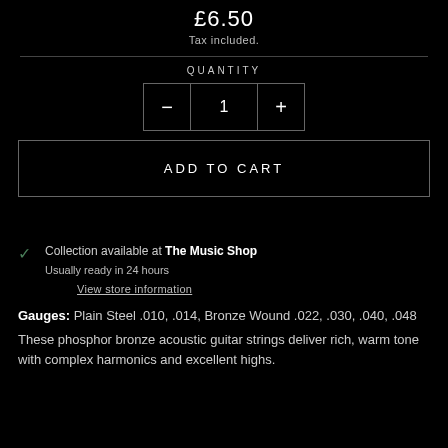£6.50
Tax included.
QUANTITY
[Figure (other): Quantity selector control with minus button, value 1, and plus button, bordered in grey]
[Figure (other): ADD TO CART button, black background with grey border and white uppercase text]
Collection available at The Music Shop
Usually ready in 24 hours
View store information
Gauges: Plain Steel .010, .014, Bronze Wound .022, .030, .040, .048
These phosphor bronze acoustic guitar strings deliver rich, warm tone with complex harmonics and excellent highs.